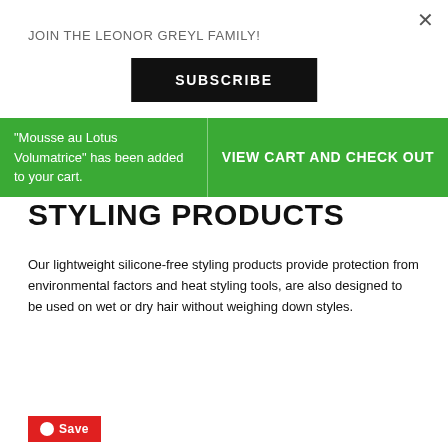×
JOIN THE LEONOR GREYL FAMILY!
SUBSCRIBE
"Mousse au Lotus Volumatrice" has been added to your cart.
VIEW CART AND CHECK OUT
STYLING PRODUCTS
Our lightweight silicone-free styling products provide protection from environmental factors and heat styling tools, are also designed to be used on wet or dry hair without weighing down styles.
Save